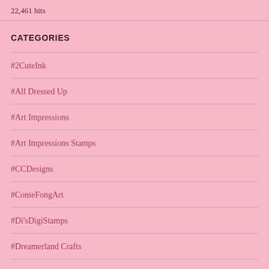22,461 hits
CATEGORIES
#2CuteInk
#All Dressed Up
#Art Impressions
#Art Impressions Stamps
#CCDesigns
#ConieFongArt
#Di'sDigiStamps
#Dreamerland Crafts
#DressItUp